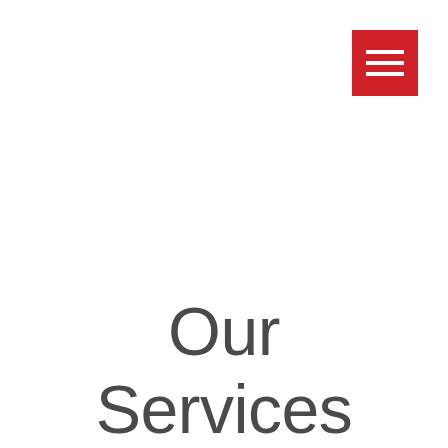[Figure (other): Red hamburger menu button with three white horizontal lines]
Our Services